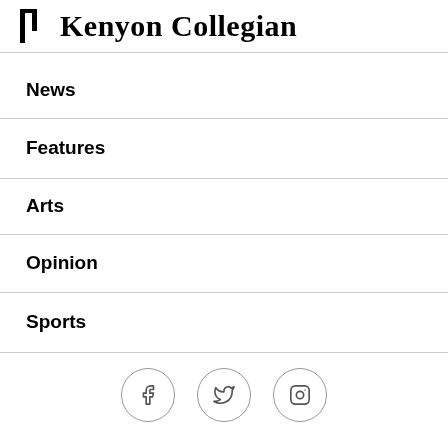Kenyon Collegian
News
Features
Arts
Opinion
Sports
[Figure (other): Social media icons: Facebook, Twitter, Instagram in circular outlines]